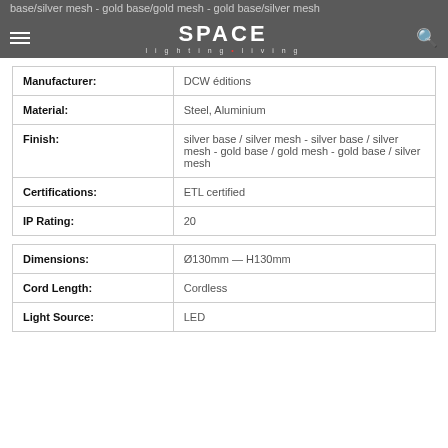base/silver mesh - gold base/gold mesh - gold base/silver mesh
| Manufacturer: | DCW éditions |
| Material: | Steel, Aluminium |
| Finish: | silver base / silver mesh - silver base / silver mesh - gold base / gold mesh - gold base / silver mesh |
| Certifications: | ETL certified |
| IP Rating: | 20 |
| Dimensions: | Ø130mm — H130mm |
| Cord Length: | Cordless |
| Light Source: | LED |